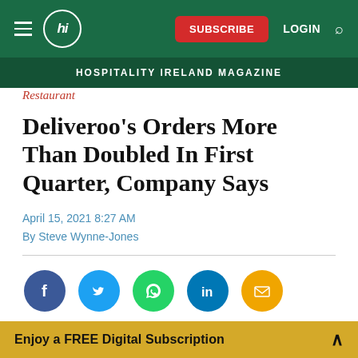Hospitality Ireland Magazine
Restaurant
Deliveroo's Orders More Than Doubled In First Quarter, Company Says
April 15, 2021 8:27 AM
By Steve Wynne-Jones
[Figure (infographic): Social sharing icons: Facebook, Twitter, WhatsApp, LinkedIn, Email]
Enjoy a FREE Digital Subscription